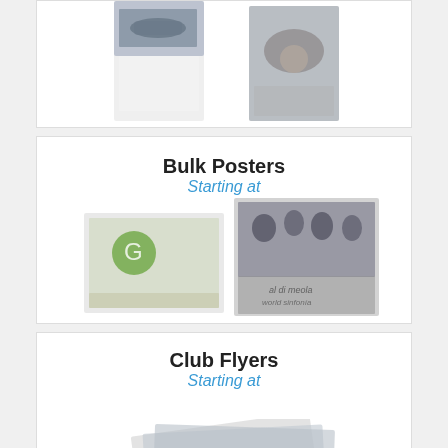[Figure (illustration): Two folded brochure/booklet product images showing a car on the cover, partially visible at top of page]
Bulk Posters
Starting at
[Figure (illustration): Two poster product images - one showing a colorful graphic design and one showing a band photo]
Club Flyers
Starting at
[Figure (illustration): Club flyer product images partially visible at bottom of page]